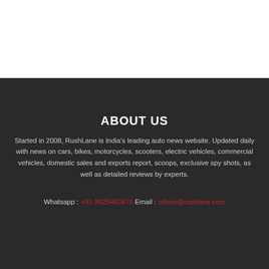ABOUT US
Started in 2008, RushLane is India's leading auto news website. Updated daily with news on cars, bikes, motorcycles, scooters, electric vehicles, commercial vehicles, domestic sales and exports report, scoops, exclusive spy shots, as well as detailed reviews by experts.
Whatsapp : +91-9925463475 Email : admin@rushlane.com